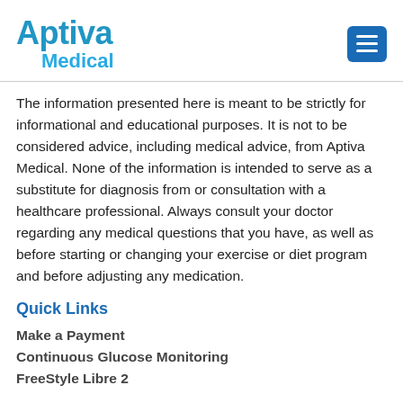Aptiva Medical
The information presented here is meant to be strictly for informational and educational purposes. It is not to be considered advice, including medical advice, from Aptiva Medical. None of the information is intended to serve as a substitute for diagnosis from or consultation with a healthcare professional. Always consult your doctor regarding any medical questions that you have, as well as before starting or changing your exercise or diet program and before adjusting any medication.
Quick Links
Make a Payment
Continuous Glucose Monitoring
FreeStyle Libre 2